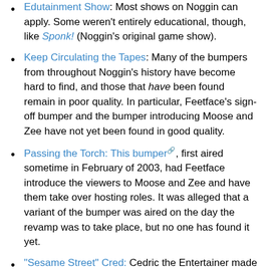Edutainment Show: Most shows on Noggin can apply. Some weren't entirely educational, though, like Sponk! (Noggin's original game show).
Keep Circulating the Tapes: Many of the bumpers from throughout Noggin's history have become hard to find, and those that have been found remain in poor quality. In particular, Feetface's sign-off bumper and the bumper introducing Moose and Zee have not yet been found in good quality.
Passing the Torch: This bumper, first aired sometime in February of 2003, had Feetface introduce the viewers to Moose and Zee and have them take over hosting roles. It was alleged that a variant of the bumper was aired on the day the revamp was to take place, but no one has found it yet.
"Sesame Street" Cred: Cedric the Entertainer made an appearance on the channel during 2008 to read The Tortoise and the Hare to Zee.